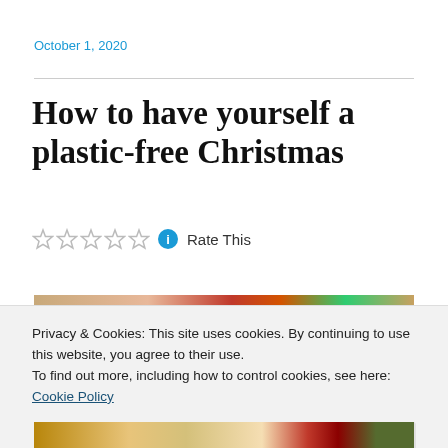October 1, 2020
How to have yourself a plastic-free Christmas
☆☆☆☆☆ ℹ Rate This
[Figure (photo): Partial view of Christmas-themed photograph showing wrapped gifts and holiday decorations]
Privacy & Cookies: This site uses cookies. By continuing to use this website, you agree to their use.
To find out more, including how to control cookies, see here: Cookie Policy

Close and accept